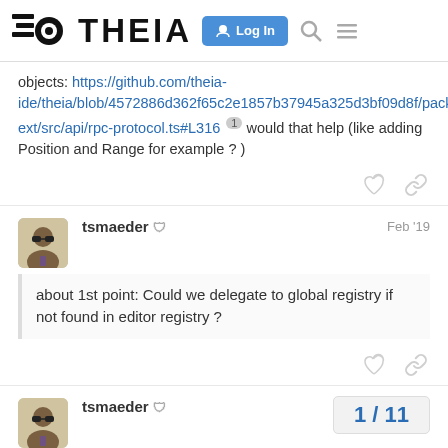THEIA — Log In
objects: https://github.com/theia-ide/theia/blob/4572886d362f65c2e1857b37945a325d3bf09d8f/packages/plugin-ext/src/api/rpc-protocol.ts#L316 1 would that help (like adding Position and Range for example ? )
tsmaeder — Feb '19
about 1st point: Could we delegate to global registry if not found in editor registry ?
tsmaeder — Feb '19
1 / 11